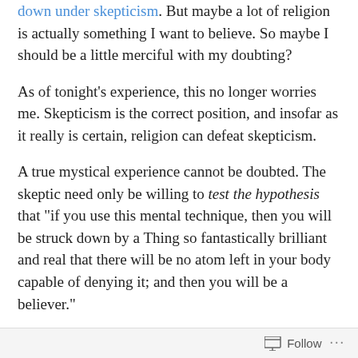down under skepticism. But maybe a lot of religion is actually something I want to believe. So maybe I should be a little merciful with my doubting?
As of tonight's experience, this no longer worries me. Skepticism is the correct position, and insofar as it really is certain, religion can defeat skepticism.
A true mystical experience cannot be doubted. The skeptic need only be willing to test the hypothesis that "if you use this mental technique, then you will be struck down by a Thing so fantastically brilliant and real that there will be no atom left in your body capable of denying it; and then you will be a believer."
If the skeptic is a talented mystic, then after they do the
Follow